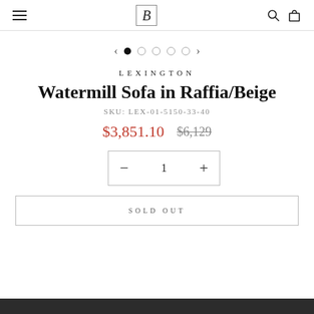B (logo) — navigation header with hamburger menu, logo, search, and cart icons
[Figure (other): Carousel dot navigation with left arrow, one filled dot, four empty dots, and right arrow]
LEXINGTON
Watermill Sofa in Raffia/Beige
SKU: LEX-01-5150-33-40
$3,851.10  $6,129
− 1 +
SOLD OUT